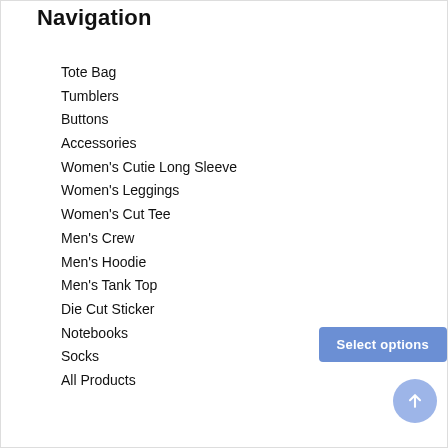Navigation
Tote Bag
Tumblers
Buttons
Accessories
Women's Cutie Long Sleeve
Women's Leggings
Women's Cut Tee
Men's Crew
Men's Hoodie
Men's Tank Top
Die Cut Sticker
Notebooks
Socks
All Products
Select options